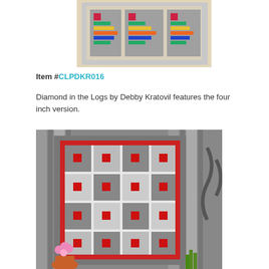[Figure (photo): Colorful log cabin quilt runner with bright fabrics on a beige background, displayed on a surface.]
Item #CLPDKR016
Diamond in the Logs by Debby Kratovil features the four inch version.
[Figure (photo): Gray and white quilt with red square accents arranged in a diamond pattern with red border, hanging on a wall, with a potted flower in the foreground.]